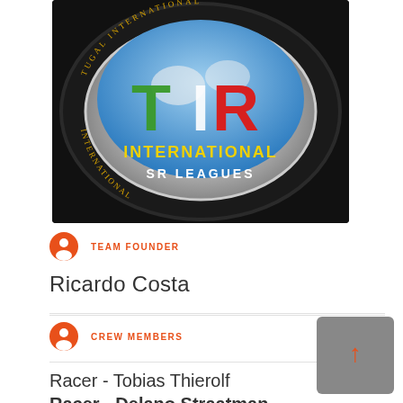[Figure (logo): TIR International SR Leagues logo on a racing tire background — stylized letters T, I, R in green, white, and red on a globe graphic, with yellow 'INTERNATIONAL' text and white 'SR LEAGUES' text below, on a dark metallic tire.]
TEAM FOUNDER
Ricardo Costa
CREW MEMBERS
Racer - Tobias Thierolf
Racer - Delano Straatman